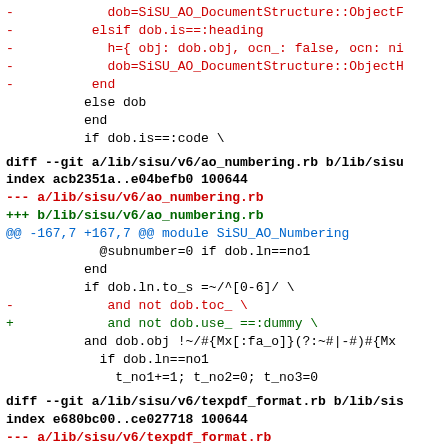Code diff showing changes to Ruby files in a SiSU library, including ao_numbering.rb and texpdf_format.rb
diff --git a/lib/sisu/v6/ao_numbering.rb b/lib/sisu/v6/ao_numbering.rb
index acb2351a..e04befb0 100644
--- a/lib/sisu/v6/ao_numbering.rb
+++ b/lib/sisu/v6/ao_numbering.rb
@@ -167,7 +167,7 @@ module SiSU_AO_Numbering
diff --git a/lib/sisu/v6/texpdf_format.rb b/lib/sisu/v6/texpdf_format.rb
index e680bc00..ce027718 100644
--- a/lib/sisu/v6/texpdf_format.rb
+++ b/lib/sisu/v6/texpdf_format.rb
@@ -258,20 +258,24 @@ module SiSU_TeX_Pdf